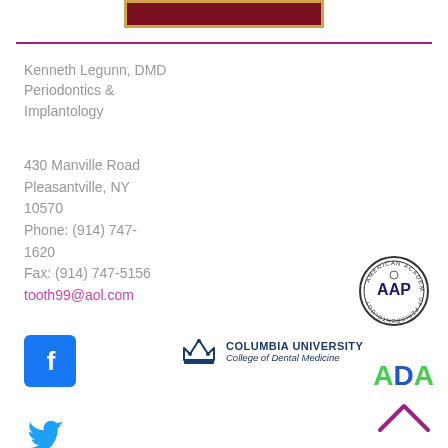[Figure (illustration): Dark red/maroon banner with gold border at top]
Kenneth Legunn, DMD
Periodontics &
Implantology
430 Manville Road
Pleasantville, NY
10570
Phone: (914) 747-1620
Fax: (914) 747-5156
tooth99@aol.com
[Figure (logo): AAP circular badge logo]
[Figure (logo): Facebook logo blue square with white f]
[Figure (logo): Columbia University College of Dental Medicine logo with crown]
[Figure (logo): ADA logo in green and blue]
[Figure (illustration): Purple chevron/caret pointing upward]
[Figure (logo): Twitter bird logo (partially visible at bottom)]